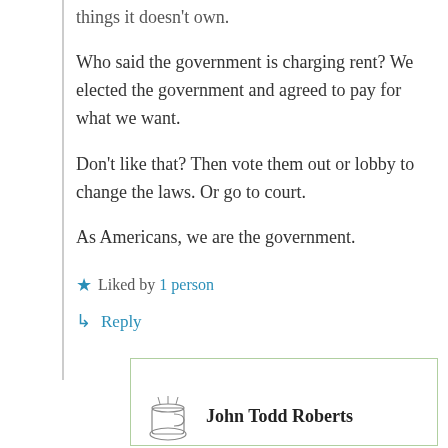things it doesn't own.
Who said the government is charging rent? We elected the government and agreed to pay for what we want.
Don't like that? Then vote them out or lobby to change the laws. Or go to court.
As Americans, we are the government.
★ Liked by 1 person
↳ Reply
John Todd Roberts